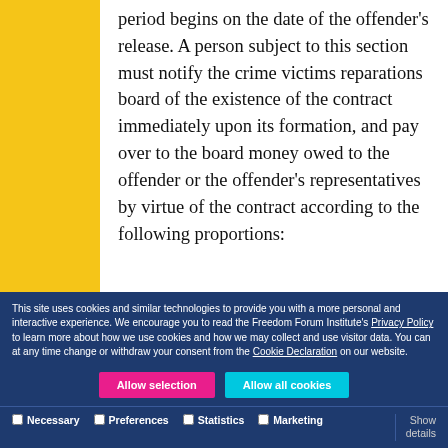period begins on the date of the offender's release. A person subject to this section must notify the crime victims reparations board of the existence of the contract immediately upon its formation, and pay over to the board money owed to the offender or the offender's representatives by virtue of the contract according to the following proportions:
This site uses cookies and similar technologies to provide you with a more personal and interactive experience. We encourage you to read the Freedom Forum Institute's Privacy Policy to learn more about how we use cookies and how we may collect and use visitor data. You can at any time change or withdraw your consent from the Cookie Declaration on our website.